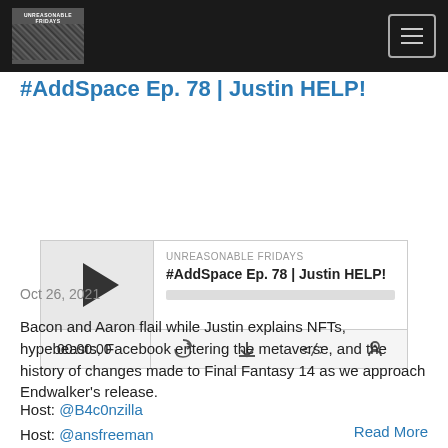Unreasonable Fridays — navigation header with logo and menu button
#AddSpace Ep. 78 | Justin HELP!
[Figure (other): Podcast player widget for #AddSpace Ep. 78 | Justin HELP! on Unreasonable Fridays, showing play button, episode title, progress bar, timestamp 00:00:00, and control icons]
Oct 26, 2021
Bacon and Aaron flail while Justin explains NFTs, hypebeasts, Facebook entering the metaverse, and the history of changes made to Final Fantasy 14 as we approach Endwalker's release.
Host: @B4c0nzilla
Host: @ansfreeman
Host: @ljay90
Theme Song:
Read More